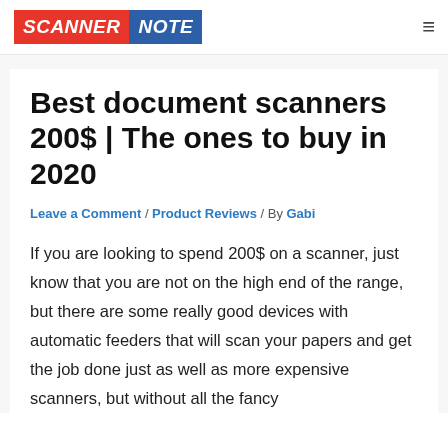SCANNER NOTE
Best document scanners 200$ | The ones to buy in 2020
Leave a Comment / Product Reviews / By Gabi
If you are looking to spend 200$ on a scanner, just know that you are not on the high end of the range, but there are some really good devices with automatic feeders that will scan your papers and get the job done just as well as more expensive scanners, but without all the fancy